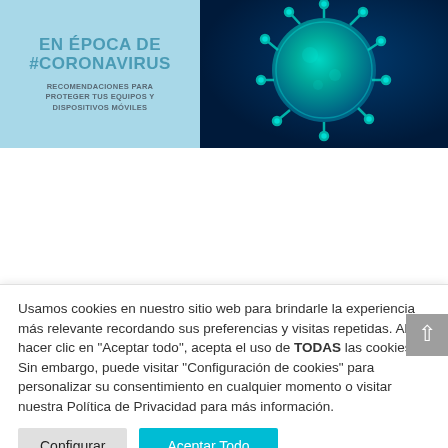[Figure (infographic): Top banner split: left light-blue panel with text 'CIBERATAQUES EN ÉPOCA DE #CORONAVIRUS' and subtitle 'RECOMENDACIONES PARA PROTEGER TUS EQUIPOS Y DISPOSITIVOS MÓVILES'; right dark-blue panel with coronavirus particle microscopy image]
[Figure (infographic): Second banner split: left light-blue panel with 'amger:pro' logo; right dark-blue panel with coronavirus microscopy image]
Usamos cookies en nuestro sitio web para brindarle la experiencia más relevante recordando sus preferencias y visitas repetidas. Al hacer clic en "Aceptar todo", acepta el uso de TODAS las cookies. Sin embargo, puede visitar "Configuración de cookies" para personalizar su consentimiento en cualquier momento o visitar nuestra Política de Privacidad para más información.